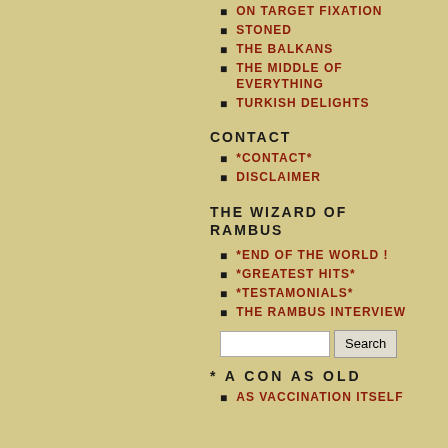ON TARGET FIXATION
STONED
THE BALKANS
THE MIDDLE OF EVERYTHING
TURKISH DELIGHTS
CONTACT
*CONTACT*
DISCLAIMER
THE WIZARD OF RAMBUS
*END OF THE WORLD !
*GREATEST HITS*
*TESTAMONIALS*
THE RAMBUS INTERVIEW
* A CON AS OLD
AS VACCINATION ITSELF